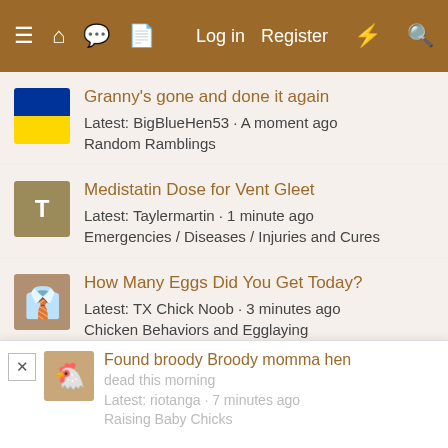≡ 🏠 💬 📄   Log in   Register ⚡ 🔍
Granny's gone and done it again
Latest: BigBlueHen53 · A moment ago
Random Ramblings
Medistatin Dose for Vent Gleet
Latest: Taylermartin · 1 minute ago
Emergencies / Diseases / Injuries and Cures
How Many Eggs Did You Get Today?
Latest: TX Chick Noob · 3 minutes ago
Chicken Behaviors and Egglaying
Leg Paralysis and Prolapse
Latest: KGardner88 · 4 minutes ago
Managing Your Flock
Found broody Broody momma hen dead this morning
Latest: riotanga · 7 minutes ago
Raising Baby Chicks